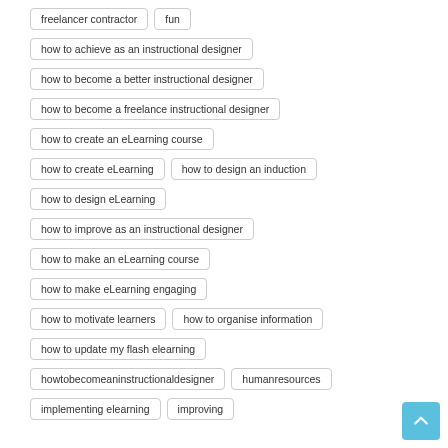freelancer contractor
fun
how to achieve as an instructional designer
how to become a better instructional designer
how to become a freelance instructional designer
how to create an eLearning course
how to create eLearning
how to design an induction
how to design eLearning
how to improve as an instructional designer
how to make an eLearning course
how to make eLearning engaging
how to motivate learners
how to organise information
how to update my flash elearning
howtobecomeaninstructionaldesigner
humanresources
implementing elearning
improving